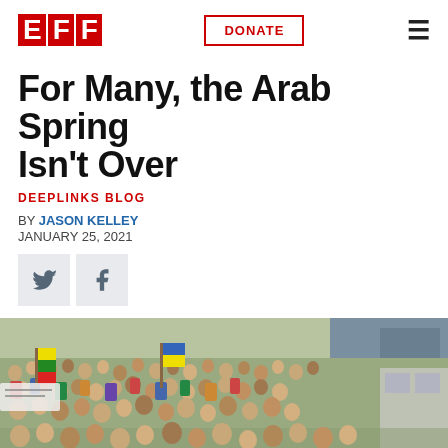EFF | DONATE
DEEPLINKS BLOG
For Many, the Arab Spring Isn't Over
BY JASON KELLEY
JANUARY 25, 2021
[Figure (other): Social sharing icons: Twitter bird icon and Facebook f icon on grey square backgrounds]
[Figure (photo): Aerial view of a large crowd of protesters gathered in a public square, with some people holding flags and signs, taken during Arab Spring demonstrations]